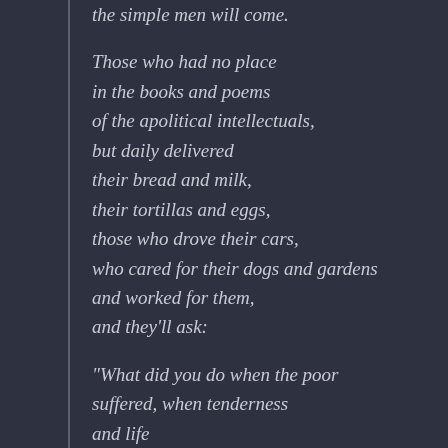the simple men will come.

Those who had no place
in the books and poems
of the apolitical intellectuals,
but daily delivered
their bread and milk,
their tortillas and eggs,
those who drove their cars,
who cared for their dogs and gardens
and worked for them,
and they'll ask:

"What did you do when the poor
suffered, when tenderness
and life